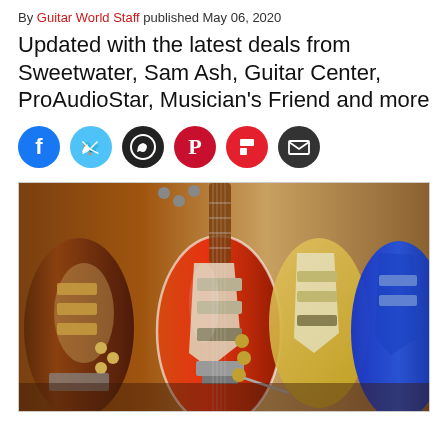By Guitar World Staff published May 06, 2020
Updated with the latest deals from Sweetwater, Sam Ash, Guitar Center, ProAudioStar, Musician's Friend and more
[Figure (other): Social sharing buttons: Facebook, Twitter, WhatsApp, Pinterest, Flipboard, Email]
[Figure (photo): Row of electric guitars hanging in a music store, including red, sunburst, yellow, and blue Fender Stratocaster-style guitars]